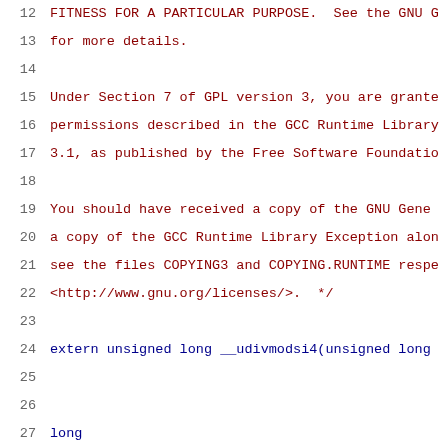Source code viewer showing lines 12-32 of a C file with GPL license comment and __udivsi3 function definition
12   FITNESS FOR A PARTICULAR PURPOSE.  See the GNU G
13   for more details.
14   (blank)
15   Under Section 7 of GPL version 3, you are grante
16   permissions described in the GCC Runtime Library
17   3.1, as published by the Free Software Foundatio
18   (blank)
19   You should have received a copy of the GNU Gene
20   a copy of the GCC Runtime Library Exception alon
21   see the files COPYING3 and COPYING.RUNTIME respe
22   <http://www.gnu.org/licenses/>.  */
23   (blank)
24   extern unsigned long __udivmodsi4(unsigned long
25   (blank)
26   (blank)
27   long
28   __udivsi3 (long a, long b)
29   {
30     return __udivmodsi4 (a, b, 0);
31   }
32   (blank)